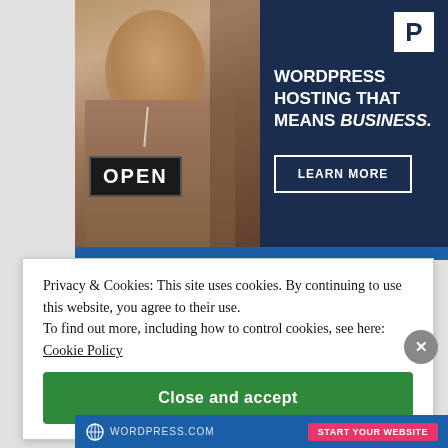[Figure (illustration): Advertisement banner with a photo of a smiling woman holding an 'OPEN' sign on the left, and a dark navy blue panel on the right featuring a 'P' logo, the text 'WORDPRESS HOSTING THAT MEANS BUSINESS.' and a 'LEARN MORE' button.]
Privacy & Cookies: This site uses cookies. By continuing to use this website, you agree to their use.
To find out more, including how to control cookies, see here: Cookie Policy
Close and accept